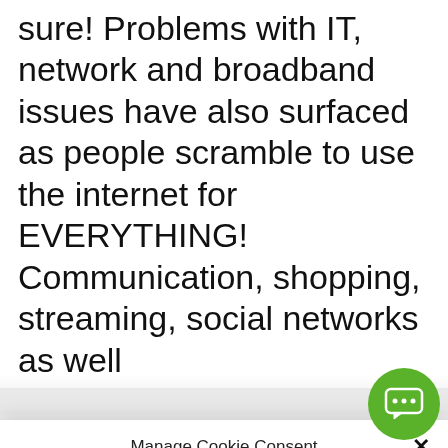sure! Problems with IT, network and broadband issues have also surfaced as people scramble to use the internet for EVERYTHING! Communication, shopping, streaming, social networks as well
Manage Cookie Consent
To provide the best experiences, we use technologies like cookies to store and/or access device information. Consenting to these technologies will allow us to process data such as browsing behavior or unique IDs on this site. Not consenting or withdrawing consent, may adversely affect certain features and functions.
Accept
Cookie Policy   Privacy Statement